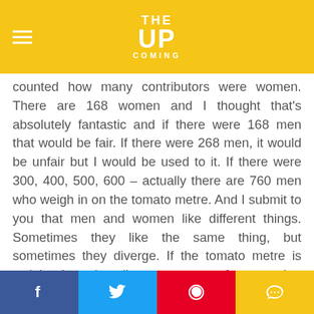THE UP COMING
counted how many contributors were women. There are 168 women and I thought that's absolutely fantastic and if there were 168 men that would be fair. If there were 268 men, it would be unfair but I would be used to it. If there were 300, 400, 500, 600 – actually there are 760 men who weigh in on the tomato metre. And I submit to you that men and women like different things. Sometimes they like the same thing, but sometimes they diverge. If the tomato metre is weighted so heavily to one set of tastes that drives box offices. So who are these critics? The New York film critics have 37 men and 2 women. So I started to go on all the sites of these critics and – the word isn't disheartening – it's infuriating. We need inclusion.
Social share buttons: Facebook, Twitter, Pinterest, Comment